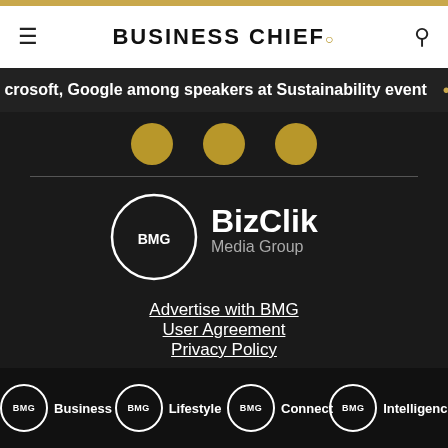BUSINESS CHIEF.
crosoft, Google among speakers at Sustainability event
[Figure (logo): BMG BizClik Media Group logo — circle with BMG text and BizClik Media Group wordmark]
Advertise with BMG
User Agreement
Privacy Policy
BMG Business  BMG Lifestyle  BMG Connect  BMG Intelligence